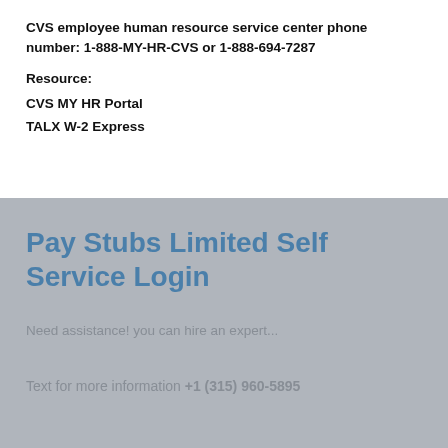CVS employee human resource service center phone number: 1-888-MY-HR-CVS or 1-888-694-7287
Resource:
CVS MY HR Portal
TALX W-2 Express
Pay Stubs Limited Self Service Login
Need assistance! you can hire an expert...
Text for more information +1 (315) 960-5895